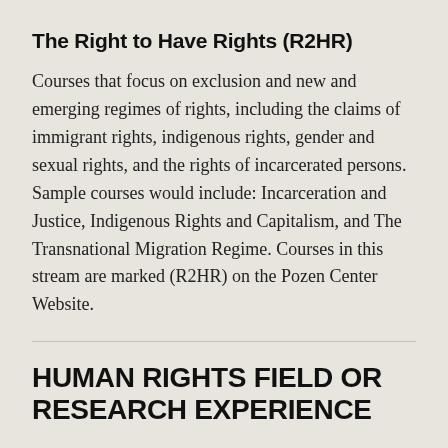The Right to Have Rights (R2HR)
Courses that focus on exclusion and new and emerging regimes of rights, including the claims of immigrant rights, indigenous rights, gender and sexual rights, and the rights of incarcerated persons. Sample courses would include: Incarceration and Justice, Indigenous Rights and Capitalism, and The Transnational Migration Regime. Courses in this stream are marked (R2HR) on the Pozen Center Website.
HUMAN RIGHTS FIELD OR RESEARCH EXPERIENCE
In addition to required coursework, all majors will